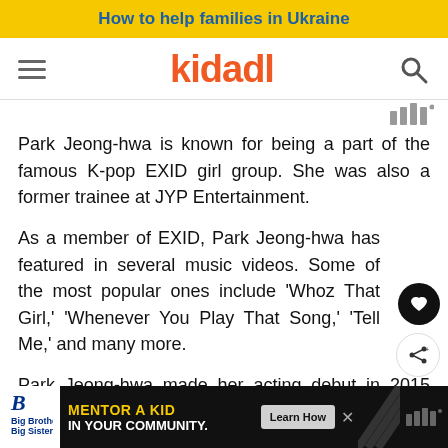How to help families in Ukraine
[Figure (logo): Kidadl logo with hamburger menu icon on left and search icon on right]
Park Jeong-hwa is known for being a part of the famous K-pop EXID girl group. She was also a former trainee at JYP Entertainment.
As a member of EXID, Park Jeong-hwa has featured in several music videos. Some of the most popular ones include 'Whoz That Girl,' 'Whenever You Play That Song,' 'Tell Me,' and many more.
Park Jeong-hwa made her acting debut in 2015 with the
[Figure (infographic): Big Brothers Big Sisters advertisement: MENTOR A KID IN YOUR COMMUNITY. Learn How button.]